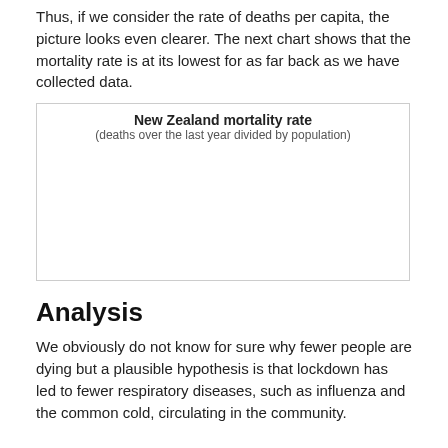Thus, if we consider the rate of deaths per capita, the picture looks even clearer. The next chart shows that the mortality rate is at its lowest for as far back as we have collected data.
[Figure (continuous-plot): Chart titled 'New Zealand mortality rate (deaths over the last year divided by population)'. The chart content area is largely blank/cut off in the image, showing only the title and subtitle.]
Analysis
We obviously do not know for sure why fewer people are dying but a plausible hypothesis is that lockdown has led to fewer respiratory diseases, such as influenza and the common cold, circulating in the community.